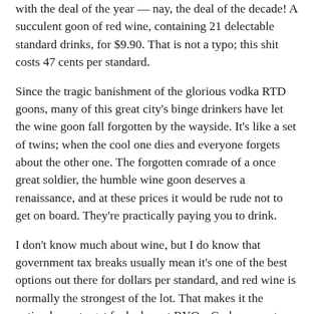with the deal of the year — nay, the deal of the decade! A succulent goon of red wine, containing 21 delectable standard drinks, for $9.90. That is not a typo; this shit costs 47 cents per standard.
Since the tragic banishment of the glorious vodka RTD goons, many of this great city's binge drinkers have let the wine goon fall forgotten by the wayside. It's like a set of twins; when the cool one dies and everyone forgets about the other one. The forgotten comrade of a once great soldier, the humble wine goon deserves a renaissance, and at these prices it would be rude not to get on board. They're practically paying you to drink.
I don't know much about wine, but I do know that government tax breaks usually mean it's one of the best options out there for dollars per standard, and red wine is normally the strongest of the lot. That makes it the optimal way to get fucked up at BYOs. Grab an empty bottle from your recycling bin, fill it with this nectar, and you're off to the races.
The first taste was surprising. It wasn't that awful. Dry, woody notes throughout, and nowhere near as much harshness as expected. However, I am but a man and I was not willing to endure an entire